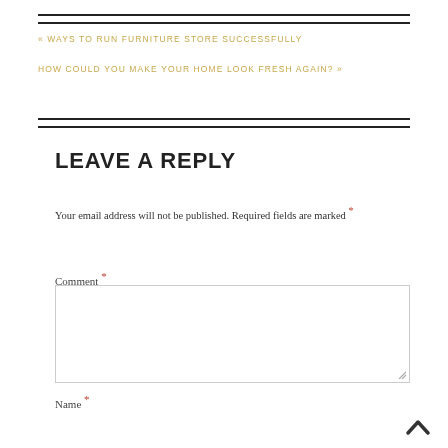« WAYS TO RUN FURNITURE STORE SUCCESSFULLY
HOW COULD YOU MAKE YOUR HOME LOOK FRESH AGAIN? »
LEAVE A REPLY
Your email address will not be published. Required fields are marked *
Comment *
Name *